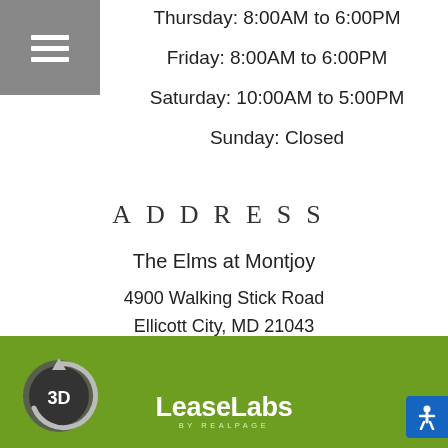[Figure (other): Gray hamburger menu button icon in top-left corner]
Thursday: 8:00AM to 6:00PM
Friday: 8:00AM to 6:00PM
Saturday: 10:00AM to 5:00PM
Sunday: Closed
ADDRESS
The Elms at Montjoy
4900 Walking Stick Road
Ellicott City, MD 21043
(888) 400-4790
[Figure (logo): reCAPTCHA logo widget with Privacy and Terms links]
[Figure (logo): 3D tour button icon - circular arrow with 3D text on olive green footer]
[Figure (logo): LeaseLabs by RealPage logo in white on green footer]